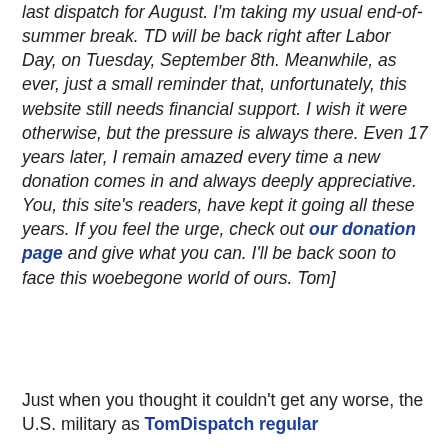last dispatch for August. I'm taking my usual end-of-summer break. TD will be back right after Labor Day, on Tuesday, September 8th. Meanwhile, as ever, just a small reminder that, unfortunately, this website still needs financial support. I wish it were otherwise, but the pressure is always there. Even 17 years later, I remain amazed every time a new donation comes in and always deeply appreciative. You, this site's readers, have kept it going all these years. If you feel the urge, check out our donation page and give what you can. I'll be back soon to face this woebegone world of ours. Tom]
Just when you thought it couldn't get any worse, the U.S. military as TomDispatch regular...